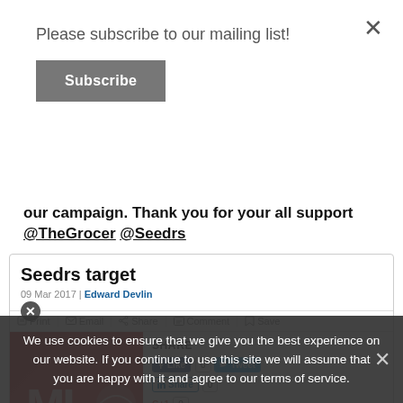Please subscribe to our mailing list!
Subscribe
our campaign. Thank you for your all support @TheGrocer @Seedrs
Seedrs target
09 Mar 2017 | Edward Devlin
[Figure (photo): Red packet of Mi noodles product]
SHARE
RELATED ARTICLES
Minc Tasty seeks new Italian Recipe kits
Crowdcube darlings Lick and Feel Free go under
We use cookies to ensure that we give you the best experience on our website. If you continue to use this site we will assume that you are happy with it and agree to our terms of service.